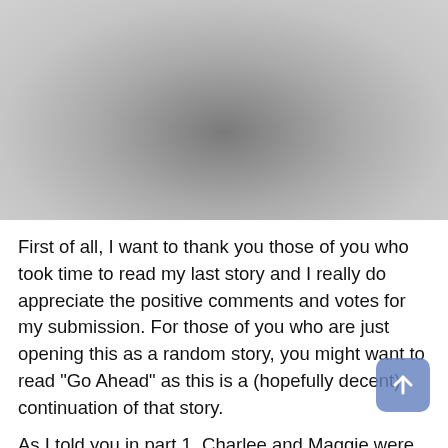[Figure (photo): Black and white photograph (grayscale), cropped close-up image, upper portion of page]
First of all, I want to thank you those of you who took time to read my last story and I really do appreciate the positive comments and votes for my submission. For those of you who are just opening this as a random story, you might want to read "Go Ahead" as this is a (hopefully decent) continuation of that story.
As I told you in part 1, Charlee and Maggie were my